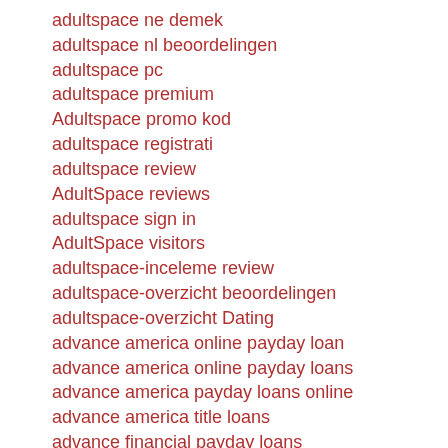adultspace ne demek
adultspace nl beoordelingen
adultspace pc
adultspace premium
Adultspace promo kod
adultspace registrati
adultspace review
AdultSpace reviews
adultspace sign in
AdultSpace visitors
adultspace-inceleme review
adultspace-overzicht beoordelingen
adultspace-overzicht Dating
advance america online payday loan
advance america online payday loans
advance america payday loans online
advance america title loans
advance financial payday loans
advance payday loan